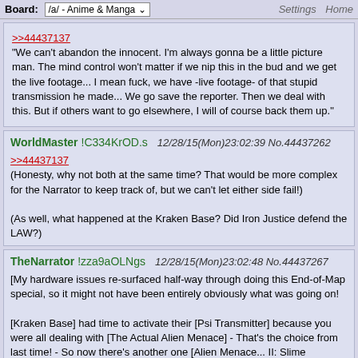Board: /a/ - Anime & Manga   Settings  Home
>>44437137
"We can't abandon the innocent. I'm always gonna be a little picture man. The mind control won't matter if we nip this in the bud and we get the live footage... I mean fuck, we have -live footage- of that stupid transmission he made... We go save the reporter. Then we deal with this. But if others want to go elsewhere, I will of course back them up."
WorldMaster !C334KrOD.s   12/28/15(Mon)23:02:39 No.44437262
>>44437137
(Honesty, why not both at the same time? That would be more complex for the Narrator to keep track of, but we can't let either side fail!)

(As well, what happened at the Kraken Base? Did Iron Justice defend the LAW?)
TheNarrator !zza9aOLNgs   12/28/15(Mon)23:02:48 No.44437267
[My hardware issues re-surfaced half-way through doing this End-of-Map special, so it might not have been entirely obviously what was going on!

[Kraken Base] had time to activate their [Psi Transmitter] because you were all dealing with [The Actual Alien Menace] - That's the choice from last time! - So now there's another one [Alien Menace... II: Slime Buggers] or [Press Conference Blues]